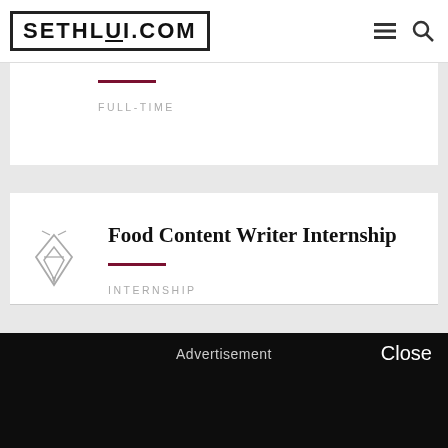SETHLUI.COM
FULL-TIME
Food Content Writer Internship
INTERNSHIP
Advertisement  Close